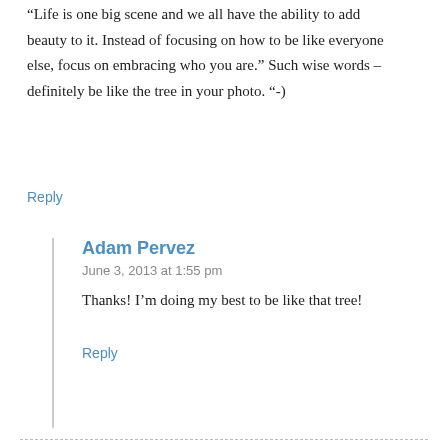“Life is one big scene and we all have the ability to add beauty to it. Instead of focusing on how to be like everyone else, focus on embracing who you are.” Such wise words – definitely be like the tree in your photo. “-)
Reply
Adam Pervez
June 3, 2013 at 1:55 pm
Thanks! I’m doing my best to be like that tree!
Reply